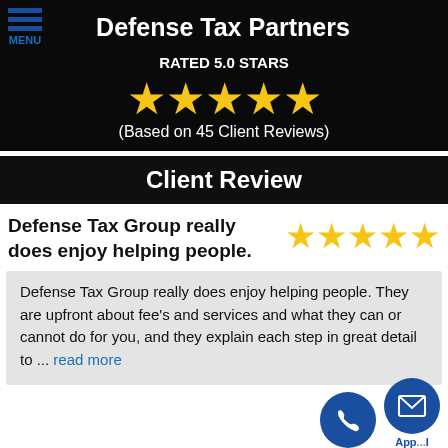Defense Tax Partners
RATED 5.0 STARS
[Figure (other): Five gold stars rating]
(Based on 45 Client Reviews)
Client Review
Defense Tax Group really does enjoy helping people.
[Figure (other): Five gold stars rating for review]
Defense Tax Group really does enjoy helping people. They are upfront about fee's and services and what they can or cannot do for you, and they explain each step in great detail to ... read more
[Figure (other): Phone and email contact icons at bottom right]